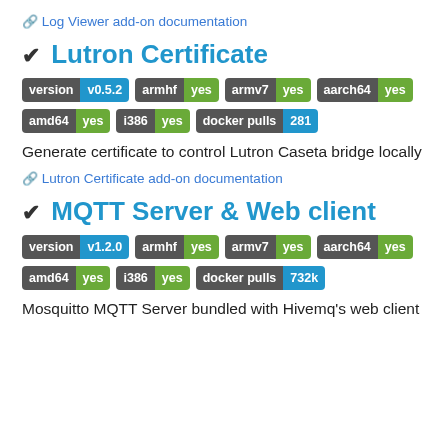🔗 Log Viewer add-on documentation
✔ Lutron Certificate
[Figure (infographic): Badges: version v0.5.2, armhf yes, armv7 yes, aarch64 yes, amd64 yes, i386 yes, docker pulls 281]
Generate certificate to control Lutron Caseta bridge locally
🔗 Lutron Certificate add-on documentation
✔ MQTT Server & Web client
[Figure (infographic): Badges: version v1.2.0, armhf yes, armv7 yes, aarch64 yes, amd64 yes, i386 yes, docker pulls 732k]
Mosquitto MQTT Server bundled with Hivemq's web client